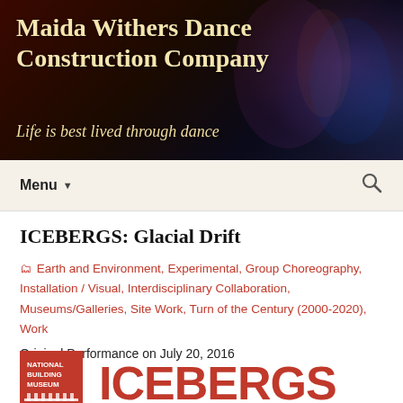[Figure (photo): Dark banner with dancers performing on stage under colorful lighting, red and blue tones]
Maida Withers Dance Construction Company
Life is best lived through dance
Menu
ICEBERGS: Glacial Drift
Earth and Environment, Experimental, Group Choreography, Installation / Visual, Interdisciplinary Collaboration, Museums/Galleries, Site Work, Turn of the Century (2000-2020), Work
Original Performance on July 20, 2016
[Figure (logo): National Building Museum logo (red square with white text) alongside large red ICEBERGS text]